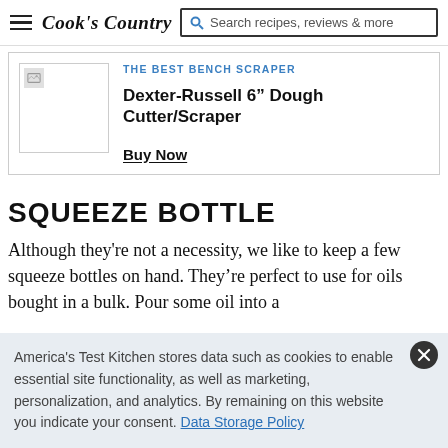Cook's Country — Search recipes, reviews & more
[Figure (screenshot): Cook's Country navigation bar with hamburger menu, logo, and search bar]
THE BEST BENCH SCRAPER
Dexter-Russell 6” Dough Cutter/Scraper
Buy Now
SQUEEZE BOTTLE
Although they're not a necessity, we like to keep a few squeeze bottles on hand. They’re perfect to use for oils bought in a bulk. Pour some oil into a
America's Test Kitchen stores data such as cookies to enable essential site functionality, as well as marketing, personalization, and analytics. By remaining on this website you indicate your consent. Data Storage Policy